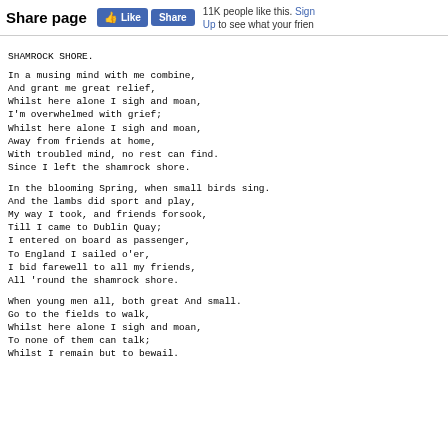Share page | Like | Share | 11K people like this. Sign Up to see what your frien
SHAMROCK SHORE.
In a musing mind with me combine,
And grant me great relief,
Whilst here alone I sigh and moan,
I'm overwhelmed with grief;
Whilst here alone I sigh and moan,
Away from friends at home,
With troubled mind, no rest can find.
Since I left the shamrock shore.
In the blooming Spring, when small birds sing.
And the lambs did sport and play,
My way I took, and friends forsook,
Till I came to Dublin Quay;
I entered on board as passenger,
To England I sailed o'er,
I bid farewell to all my friends,
All 'round the shamrock shore.
When young men all, both great And small.
Go to the fields to walk,
Whilst here alone I sigh and moan,
To none of them can talk;
Whilst I remain but to bewail.